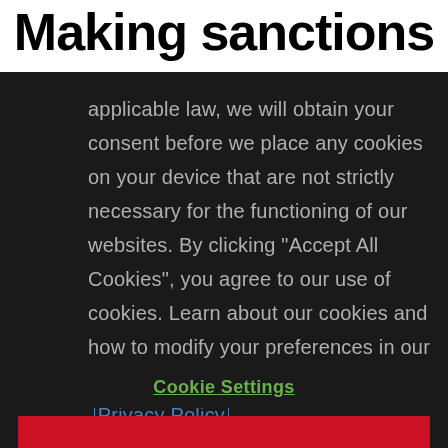Making sanctions
applicable law, we will obtain your consent before we place any cookies on your device that are not strictly necessary for the functioning of our websites. By clicking "Accept All Cookies", you agree to our use of cookies. Learn about our cookies and how to modify your preferences in our Cookie Notice. Visit our updated Privacy Policy, Cookie Notice, and Terms of Use, effective 28 February 2022.
Cookie Settings